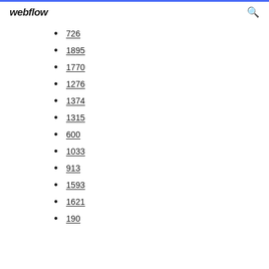webflow
726
1895
1770
1276
1374
1315
600
1033
913
1593
1621
190